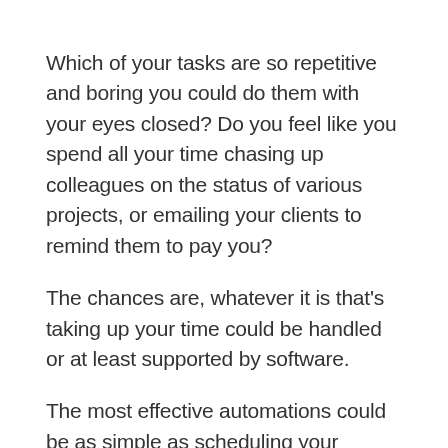Which of your tasks are so repetitive and boring you could do them with your eyes closed? Do you feel like you spend all your time chasing up colleagues on the status of various projects, or emailing your clients to remind them to pay you?
The chances are, whatever it is that's taking up your time could be handled or at least supported by software.
The most effective automations could be as simple as scheduling your tweets for the week, or setting up emails to be sent at regular intervals.
Or it could be about using a productivity